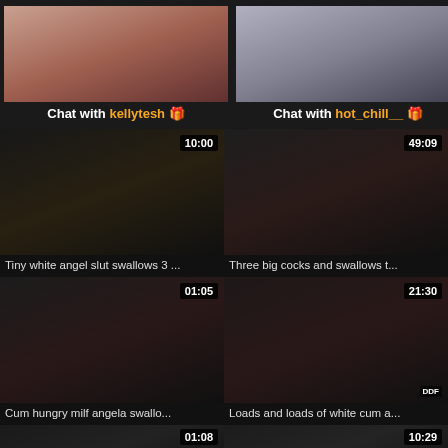[Figure (photo): Chat promo thumbnail for kellytesh]
[Figure (photo): Chat promo thumbnail for hot_chill__]
Chat with kellytesh 🎁
Chat with hot_chill__ 🎁
[Figure (photo): Video thumbnail, duration 10:00]
[Figure (photo): Video thumbnail, duration 49:09]
Tiny white angel slut swallows 3 ...
Three big cocks and swallows t...
[Figure (photo): Video thumbnail, duration 01:05]
[Figure (photo): Video thumbnail, duration 21:30]
Cum hungry milf angela swallo...
Loads and loads of white cum a...
[Figure (photo): Partial video thumbnail, duration 01:08]
[Figure (photo): Partial video thumbnail, duration 10:29]